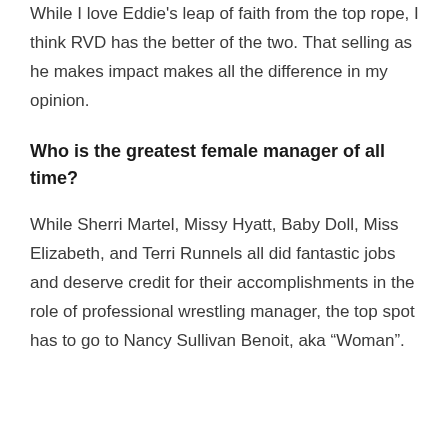While I love Eddie's leap of faith from the top rope, I think RVD has the better of the two. That selling as he makes impact makes all the difference in my opinion.
Who is the greatest female manager of all time?
While Sherri Martel, Missy Hyatt, Baby Doll, Miss Elizabeth, and Terri Runnels all did fantastic jobs and deserve credit for their accomplishments in the role of professional wrestling manager, the top spot has to go to Nancy Sullivan Benoit, aka “Woman”.